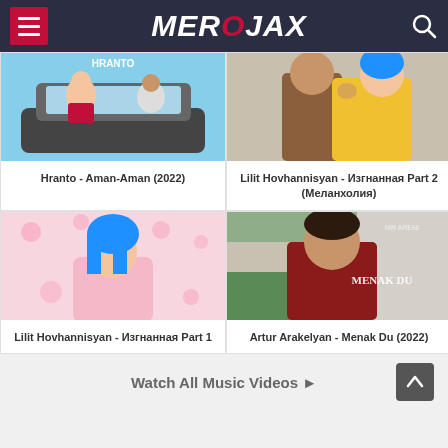MEROJAX
[Figure (screenshot): Thumbnail for Hranto - Aman-Aman (2022): two people in a convertible car, text HRANTO at top]
Hranto - Aman-Aman (2022)
[Figure (screenshot): Thumbnail for Lilit Hovhannisyan - Изгнанная Part 2 (Меланхолия): couple in close embrace, girl with blue hair]
Lilit Hovhannisyan - Изгнанная Part 2 (Меланхолия)
[Figure (screenshot): Thumbnail for Lilit Hovhannisyan - Изгнанная Part 1: woman with blue hair in pink coat, floral background]
Lilit Hovhannisyan - Изгнанная Part 1
[Figure (screenshot): Thumbnail for Artur Arakelyan - Menak Du (2022): man in red jacket, text MENAK DU on image]
Artur Arakelyan - Menak Du (2022)
Watch All Music Videos ►